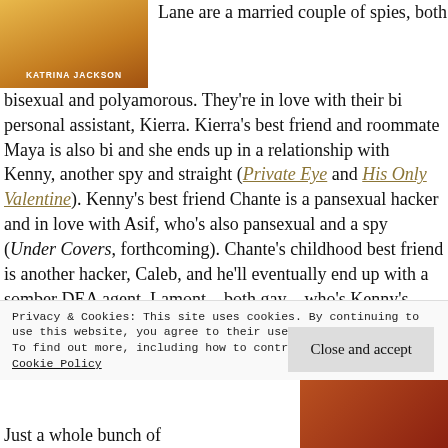[Figure (photo): Book cover photo showing figures, with text 'KATRINA JACKSON' at bottom]
Lane are a married couple of spies, both bisexual and polyamorous. They're in love with their bi personal assistant, Kierra. Kierra's best friend and roommate Maya is also bi and she ends up in a relationship with Kenny, another spy and straight (Private Eye and His Only Valentine). Kenny's best friend Chante is a pansexual hacker and in love with Asif, who's also pansexual and a spy (Under Covers, forthcoming). Chante's childhood best friend is another hacker, Caleb, and he'll eventually end up with a somber DEA agent, Lamont – both gay – who's Kenny's former partner (Bang & Burn and Brush Contact, forthcoming). In New Year, New We, Monica, Lane and Kierra h...
Privacy & Cookies: This site uses cookies. By continuing to use this website, you agree to their use.
To find out more, including how to control cookies, see here: Cookie Policy
Close and accept
Just a whole bunch of
[Figure (photo): Partial book cover image at bottom right]